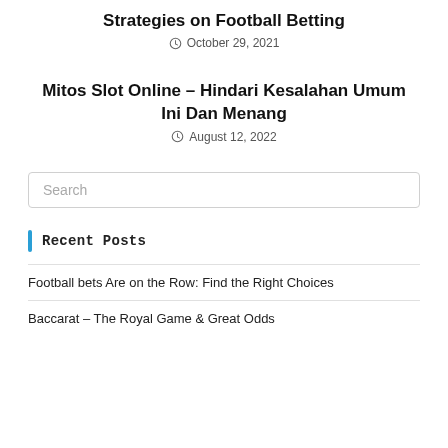Strategies on Football Betting
October 29, 2021
Mitos Slot Online – Hindari Kesalahan Umum Ini Dan Menang
August 12, 2022
Search
Recent Posts
Football bets Are on the Row: Find the Right Choices
Baccarat – The Royal Game & Great Odds